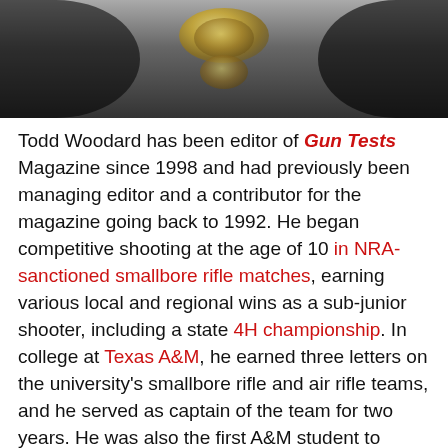[Figure (photo): Close-up photo of ammunition/bullets against a dark background with black gun parts visible]
Todd Woodard has been editor of Gun Tests Magazine since 1998 and had previously been managing editor and a contributor for the magazine going back to 1992. He began competitive shooting at the age of 10 in NRA-sanctioned smallbore rifle matches, earning various local and regional wins as a sub-junior shooter, including a state 4H championship. In college at Texas A&M, he earned three letters on the university's smallbore rifle and air rifle teams, and he served as captain of the team for two years. He was also the first A&M student to qualify for an NCAA Championship slot. He graduated with a B.S. in Journalism. Other roles he has served in included Shooting Venue Press Chief for the Atlanta Olympic Games in July 1996; editor,